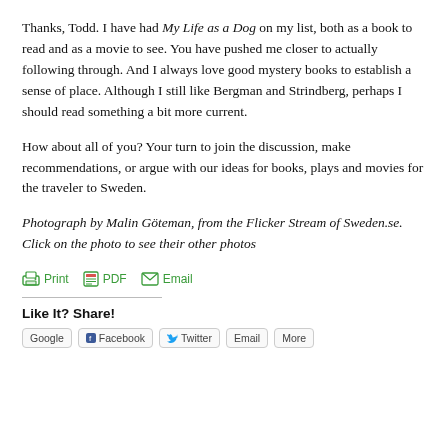Thanks, Todd.  I have had My Life as a Dog on my list, both as a book to read and as a movie to see. You have pushed me closer to actually following through.  And I always love good mystery books to establish a sense of place. Although I still like Bergman and Strindberg, perhaps I should read something a bit more current.
How about all of you?  Your turn to join the discussion, make recommendations, or argue with our ideas for books, plays and movies for the traveler to Sweden.
Photograph by Malin Göteman, from the Flicker Stream of Sweden.se. Click on the photo to see their other photos
Print  PDF  Email
Like It? Share!
Google  Facebook  Twitter  Email  More